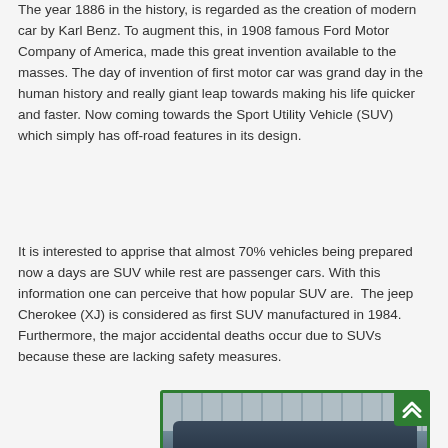The year 1886 in the history, is regarded as the creation of modern car by Karl Benz. To augment this, in 1908 famous Ford Motor Company of America, made this great invention available to the masses. The day of invention of first motor car was grand day in the human history and really giant leap towards making his life quicker and faster. Now coming towards the Sport Utility Vehicle (SUV) which simply has off-road features in its design.
It is interested to apprise that almost 70% vehicles being prepared now a days are SUV while rest are passenger cars. With this information one can perceive that how popular SUV are.  The jeep Cherokee (XJ) is considered as first SUV manufactured in 1984. Furthermore, the major accidental deaths occur due to SUVs because these are lacking safety measures.
[Figure (photo): Partially visible photo of a dark-colored SUV/car parked in front of a large corrugated metal building or warehouse, with a green border frame around the image.]